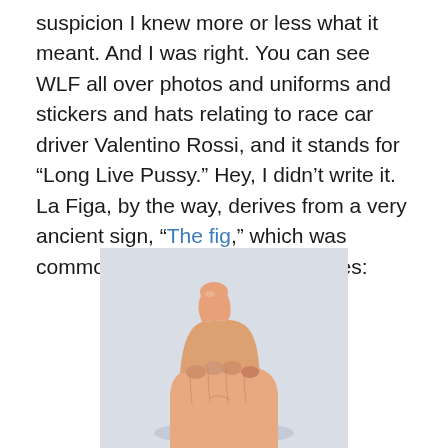suspicion I knew more or less what it meant. And I was right. You can see WLF all over photos and uniforms and stickers and hats relating to race car driver Valentino Rossi, and it stands for “Long Live Pussy.” Hey, I didn’t write it. La Figa, by the way, derives from a very ancient sign, “The fig,” which was common in Rome and other places:
[Figure (photo): A hand making 'the fig' gesture, with the thumb tucked between the index and middle fingers, shown against a light blue-grey background.]